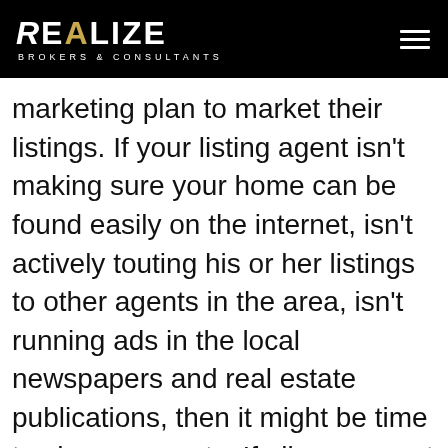REALIZE BROKERS & CONSULTANTS
marketing plan to market their listings. If your listing agent isn’t making sure your home can be found easily on the internet, isn’t actively touting his or her listings to other agents in the area, isn’t running ads in the local newspapers and real estate publications, then it might be time to change agents. If all your agent has done is put a sign in your front yard and add your home to the local MLS, then that agent isn’t